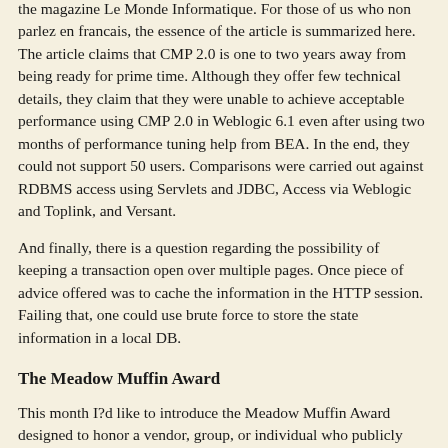the magazine Le Monde Informatique. For those of us who non parlez en francais, the essence of the article is summarized here. The article claims that CMP 2.0 is one to two years away from being ready for prime time. Although they offer few technical details, they claim that they were unable to achieve acceptable performance using CMP 2.0 in Weblogic 6.1 even after using two months of performance tuning help from BEA. In the end, they could not support 50 users. Comparisons were carried out against RDBMS access using Servlets and JDBC, Access via Weblogic and Toplink, and Versant.
And finally, there is a question regarding the possibility of keeping a transaction open over multiple pages. Once piece of advice offered was to cache the information in the HTTP session. Failing that, one could use brute force to store the state information in a local DB.
The Meadow Muffin Award
This month I?d like to introduce the Meadow Muffin Award designed to honor a vendor, group, or individual who publicly release or make outlandish performance related statements. The award honors two comedians, Delmar McGregor and Cecil Wiggins whose antics have forever altered the minds of Silicon Valley North. The rules for the award are fairly basis. The award